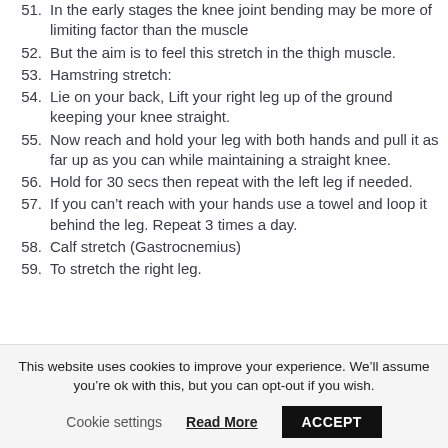51. In the early stages the knee joint bending may be more of limiting factor than the muscle
52. But the aim is to feel this stretch in the thigh muscle.
53. Hamstring stretch:
54. Lie on your back, Lift your right leg up of the ground keeping your knee straight.
55. Now reach and hold your leg with both hands and pull it as far up as you can while maintaining a straight knee.
56. Hold for 30 secs then repeat with the left leg if needed.
57. If you can’t reach with your hands use a towel and loop it behind the leg. Repeat 3 times a day.
58. Calf stretch (Gastrocnemius)
59. To stretch the right leg.
This website uses cookies to improve your experience. We’ll assume you’re ok with this, but you can opt-out if you wish. Cookie settings  Read More  ACCEPT